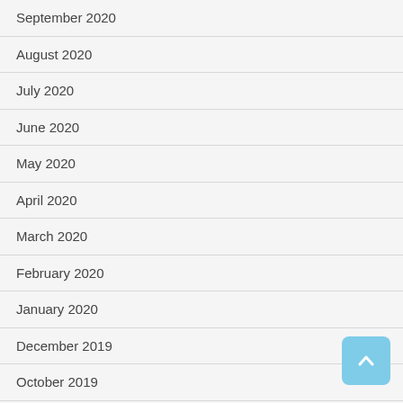September 2020
August 2020
July 2020
June 2020
May 2020
April 2020
March 2020
February 2020
January 2020
December 2019
October 2019
September 2019
August 2019
July 2019
May 2019